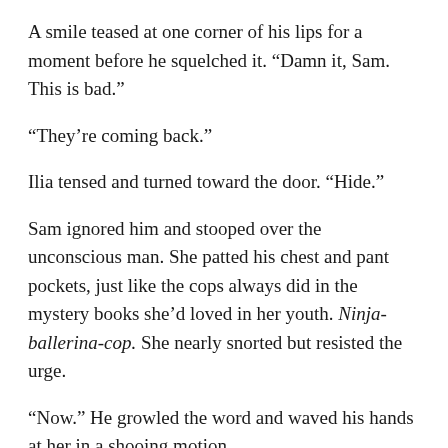A smile teased at one corner of his lips for a moment before he squelched it. “Damn it, Sam. This is bad.”
“They’re coming back.”
Ilia tensed and turned toward the door. “Hide.”
Sam ignored him and stooped over the unconscious man. She patted his chest and pant pockets, just like the cops always did in the mystery books she’d loved in her youth. Ninja-ballerina-cop. She nearly snorted but resisted the urge.
“Now.” He growled the word and waved his hands at her in a shooing motion.
If she’d had a gun, she might have shot him for that.